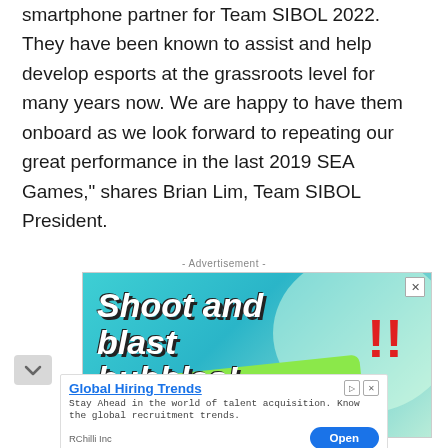smartphone partner for Team SIBOL 2022. They have been known to assist and help develop esports at the grassroots level for many years now. We are happy to have them onboard as we look forward to repeating our great performance in the last 2019 SEA Games," shares Brian Lim, Team SIBOL President.
- Advertisement -
[Figure (illustration): Advertisement banner with teal background showing 'Shoot and blast bubbles!' text in bold white italic font with red exclamation marks graphic element]
[Figure (illustration): Bottom advertisement banner for 'Global Hiring Trends' by RChilli Inc with blue Open button]